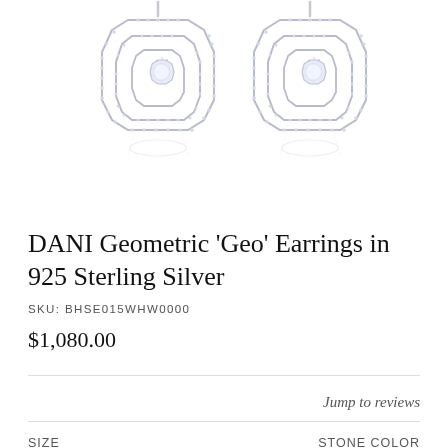[Figure (photo): Two octagonal geometric earrings in 925 sterling silver with crystal/cubic zirconia stones, shown on white background with slight reflection. Earrings feature multiple concentric octagon frames studded with small crystals and a central solitaire stone.]
DANI Geometric 'Geo' Earrings in 925 Sterling Silver
SKU: BHSE015WHW0000
$1,080.00
Jump to reviews
Size